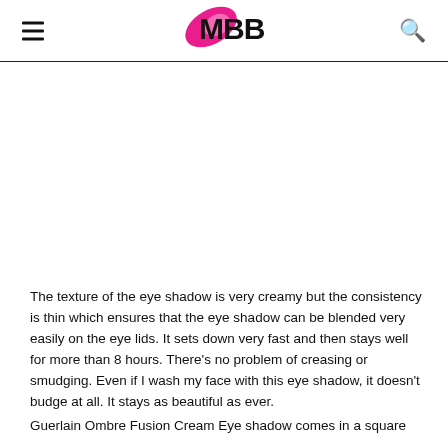IMBB
[Figure (other): Blank white image area in article body]
The texture of the eye shadow is very creamy but the consistency is thin which ensures that the eye shadow can be blended very easily on the eye lids. It sets down very fast and then stays well for more than 8 hours. There's no problem of creasing or smudging. Even if I wash my face with this eye shadow, it doesn't budge at all. It stays as beautiful as ever.
Guerlain Ombre Fusion Cream Eye shadow comes in a square